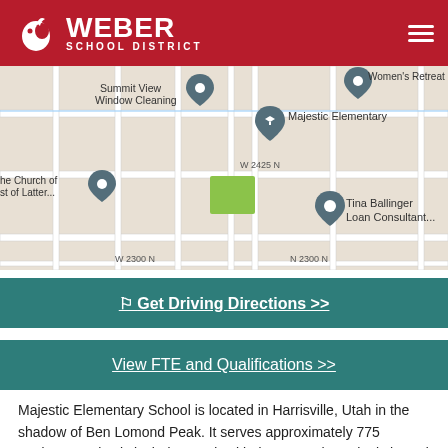Weber School District
[Figure (map): Google Maps screenshot showing the area around Majestic Elementary in Harrisville, Utah. Visible landmarks include Summit View Window Cleaning, Women's Retreat House, Majestic Elementary (with school pin), The Church of Jesus Christ of Latter-day Saints, and Tina Ballinger Loan Consultant. Streets shown include W 2550 N St, W 2425 N, W 2300 N, N 575 W, N 500 W, N 450 W, N 400 W, N 375 W, N 350 W, N 100 W.]
Get Driving Directions >>
View FTE and Qualifications >>
Majestic Elementary School is located in Harrisville, Utah in the shadow of Ben Lomond Peak. It serves approximately 775 students. Majestic includes grades kindergarten through sixth, and it is home to a Spanish dual immersion program. Majestic opened its doors in the fall of 1998. It draws students from three